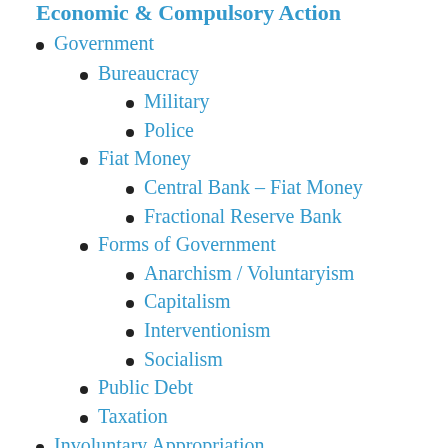Government
Bureaucracy
Military
Police
Fiat Money
Central Bank – Fiat Money
Fractional Reserve Bank
Forms of Government
Anarchism / Voluntaryism
Capitalism
Interventionism
Socialism
Public Debt
Taxation
Involuntary Appropriation
Repossession